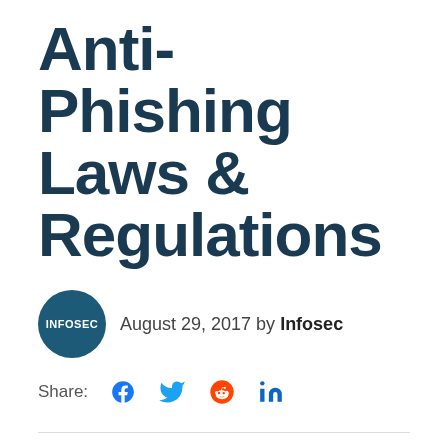Anti-Phishing Laws & Regulations
August 29, 2017 by Infosec
Share:
Information security has never been more important. New threats are rising and old threats still lurk. Data has become the new currency and hackers have switched from targeting the financial accounts of their victims